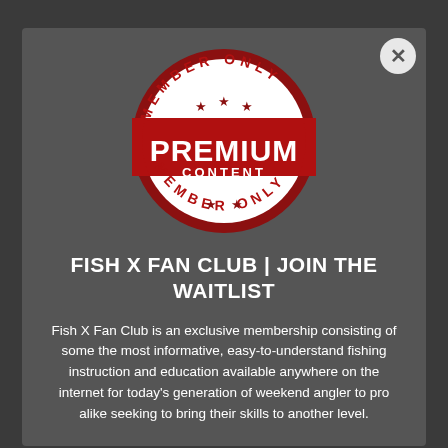[Figure (logo): Red circular stamp/seal with 'MEMBER ONLY' text on top and bottom arcs, three stars at top, two stars at bottom, large bold white text 'PREMIUM' in center, smaller text 'CONTENT' below it. Vintage distressed style red and white badge.]
FISH X FAN CLUB | JOIN THE WAITLIST
Fish X Fan Club is an exclusive membership consisting of some the most informative, easy-to-understand fishing instruction and education available anywhere on the internet for today's generation of weekend angler to pro alike seeking to bring their skills to another level.